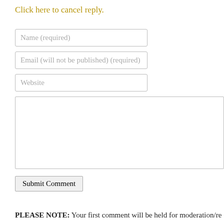Click here to cancel reply.
Name (required)
Email (will not be published) (required)
Website
[comment text area]
Submit Comment
PLEASE NOTE: Your first comment will be held for moderation/re